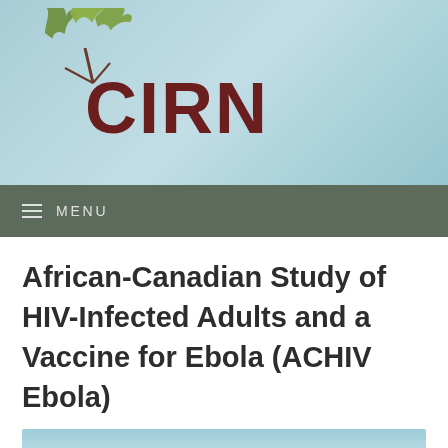[Figure (logo): CIRN logo with green maple leaves and dark red CIRN text on teal watercolor background]
≡ MENU
African-Canadian Study of HIV-Infected Adults and a Vaccine for Ebola (ACHIV Ebola)